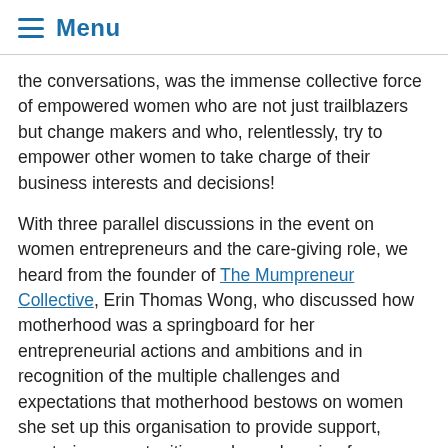Menu
the conversations, was the immense collective force of empowered women who are not just trailblazers but change makers and who, relentlessly, try to empower other women to take charge of their business interests and decisions!
With three parallel discussions in the event on women entrepreneurs and the care-giving role, we heard from the founder of The Mumpreneur Collective, Erin Thomas Wong, who discussed how motherhood was a springboard for her entrepreneurial actions and ambitions and in recognition of the multiple challenges and expectations that motherhood bestows on women she set up this organisation to provide support, mentoring opportunities and peer learning for